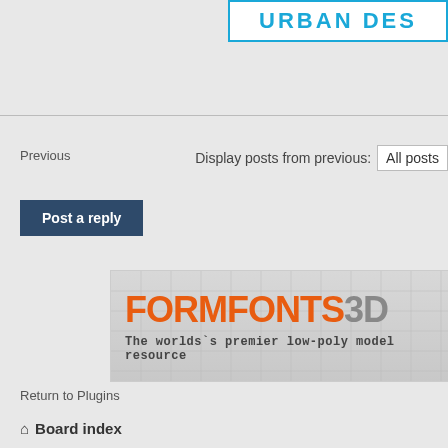[Figure (logo): URBAN DES text logo in cyan/blue color with border]
Previous
Display posts from previous:  All posts
Post a reply
[Figure (illustration): FORMFONTS 3D banner ad with orange and gray text on grid background. Text reads: FORMFONTS 3D - The world's premier low-poly model resource]
Return to Plugins
Board index